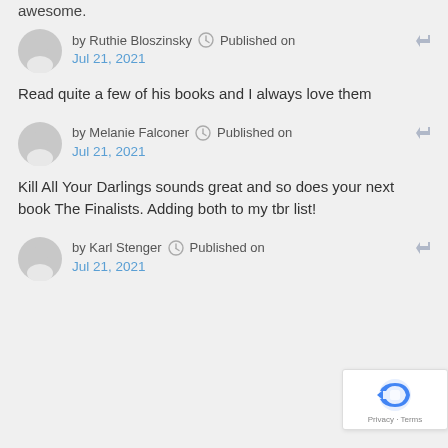awesome.
by Ruthie Bloszinsky  Published on  Jul 21, 2021
Read quite a few of his books and I always love them
by Melanie Falconer  Published on  Jul 21, 2021
Kill All Your Darlings sounds great and so does your next book The Finalists. Adding both to my tbr list!
by Karl Stenger  Published on  Jul 21, 2021